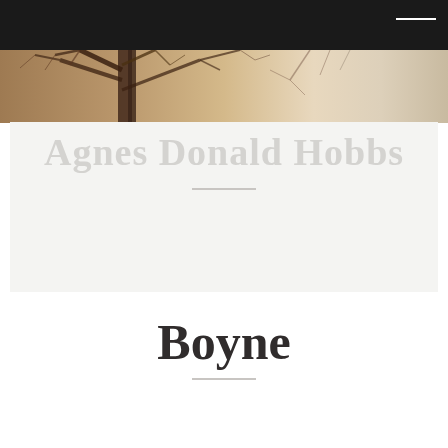[Figure (photo): Sepia-toned photograph of bare winter trees with branches against a light sky]
Agnes Donald Hobbs
Boyne